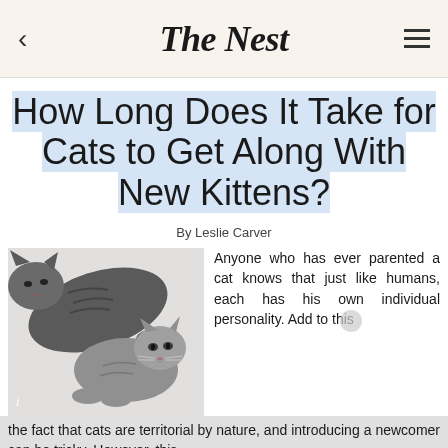The Nest
How Long Does It Take for Cats to Get Along With New Kittens?
By Leslie Carver
[Figure (photo): Black and white photo of two cats, one larger cat leaning over a smaller grey kitten, both on a light background]
Anyone who has ever parented a cat knows that just like humans, each has his own individual personality. Add to this the fact that cats are territorial by nature, and introducing a newcomer can be tricky. However, this